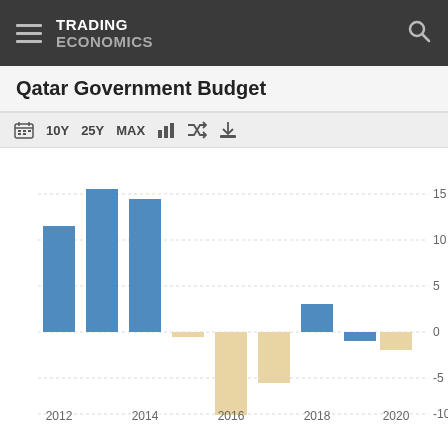TRADING ECONOMICS
Qatar Government Budget
[Figure (bar-chart): Qatar Government Budget]